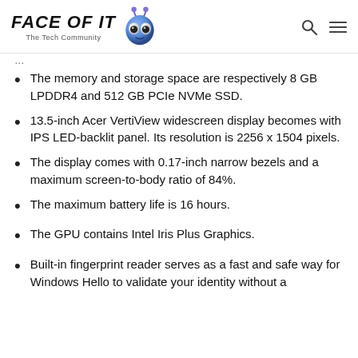FACE OF IT – The Tech Community
The memory and storage space are respectively 8 GB LPDDR4 and 512 GB PCIe NVMe SSD.
13.5-inch Acer VertiView widescreen display becomes with IPS LED-backlit panel. Its resolution is 2256 x 1504 pixels.
The display comes with 0.17-inch narrow bezels and a maximum screen-to-body ratio of 84%.
The maximum battery life is 16 hours.
The GPU contains Intel Iris Plus Graphics.
Built-in fingerprint reader serves as a fast and safe way for Windows Hello to validate your identity without a